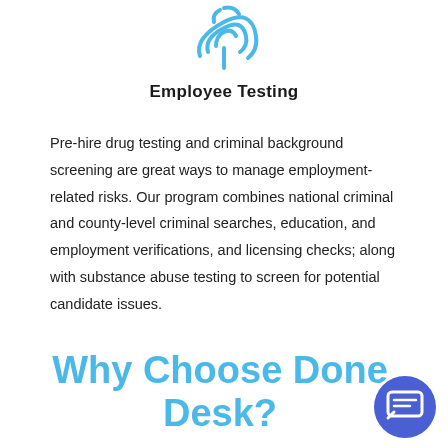[Figure (illustration): Blue fingerprint / touch ID icon at the top center of the page]
Employee Testing
Pre-hire drug testing and criminal background screening are great ways to manage employment-related risks. Our program combines national criminal and county-level criminal searches, education, and employment verifications, and licensing checks; along with substance abuse testing to screen for potential candidate issues.
Why Choose Done Desk?
[Figure (illustration): Blue circular chat/messenger button icon in the bottom-right corner]